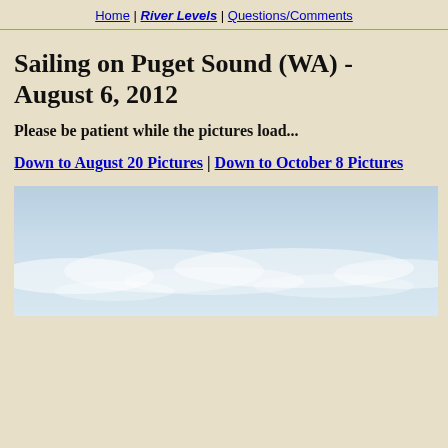Home | River Levels | Questions/Comments
Sailing on Puget Sound (WA) - August 6, 2012
Please be patient while the pictures load...
Down to August 20 Pictures | Down to October 8 Pictures
[Figure (photo): A wide panoramic photo showing a pale blue sky with light wispy clouds, likely taken from a sailboat on Puget Sound.]